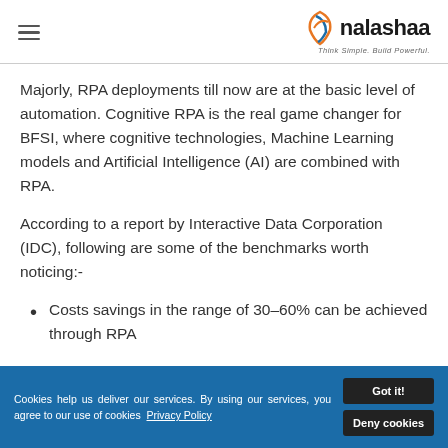nalashaa — Think Simple. Build Powerful.
Majorly, RPA deployments till now are at the basic level of automation. Cognitive RPA is the real game changer for BFSI, where cognitive technologies, Machine Learning models and Artificial Intelligence (AI) are combined with RPA.
According to a report by Interactive Data Corporation (IDC), following are some of the benchmarks worth noticing:-
Costs savings in the range of 30–60% can be achieved through RPA
Cookies help us deliver our services. By using our services, you agree to our use of cookies  Privacy Policy